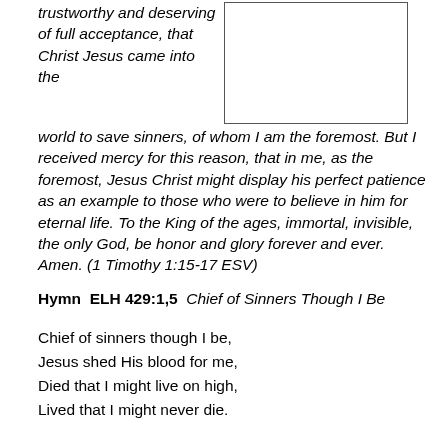trustworthy and deserving of full acceptance, that Christ Jesus came into the world to save sinners, of whom I am the foremost. But I received mercy for this reason, that in me, as the foremost, Jesus Christ might display his perfect patience as an example to those who were to believe in him for eternal life. To the King of the ages, immortal, invisible, the only God, be honor and glory forever and ever. Amen. (1 Timothy 1:15-17 ESV)
[Figure (other): Empty rectangular box/frame with a black border]
Hymn  ELH 429:1,5  Chief of Sinners Though I Be
Chief of sinners though I be,
Jesus shed His blood for me,
Died that I might live on high,
Lived that I might never die.